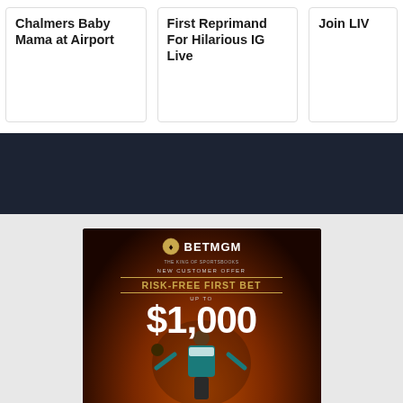Chalmers Baby Mama at Airport
First Reprimand For Hilarious IG Live
Join LIV
[Figure (photo): BetMGM advertisement banner. Black background with orange/amber glow. Shows BetMGM logo at top, 'NEW CUSTOMER OFFER', 'RISK-FREE FIRST BET', 'UP TO', '$1,000' in large white text, and a man in a teal suit holding a football with arms spread wide.]